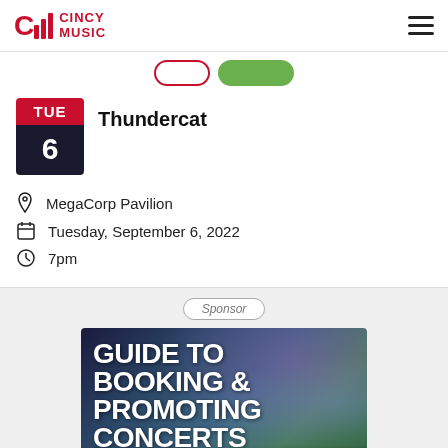CINCY MUSIC
Thundercat
MegaCorp Pavilion
Tuesday, September 6, 2022
7pm
Sponsor
[Figure (photo): Advertisement banner for 'Guide to Booking & Promoting Concerts – Free Download!' with concert crowd and stage lighting background]